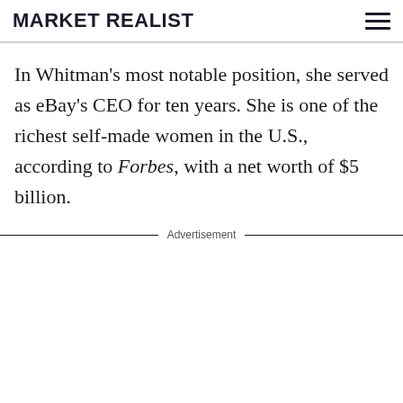MARKET REALIST
In Whitman's most notable position, she served as eBay's CEO for ten years. She is one of the richest self-made women in the U.S., according to Forbes, with a net worth of $5 billion.
Advertisement